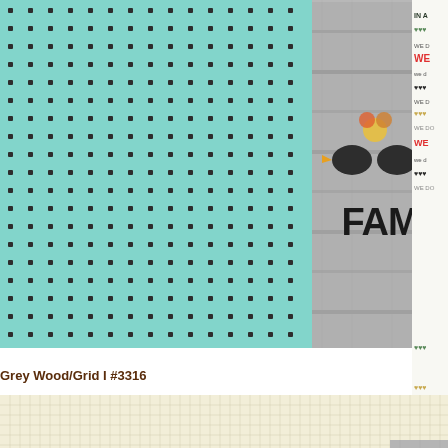[Figure (photo): Scrapbook paper collection showing: a mint green paper with black polka dots pattern, a grey wood plank background with decorative birds and 'FAM' text, and a partial view of a white paper with colorful heart motifs and 'WE DO' repeated text in various colors]
Grey Wood/Grid I #3316
[Figure (photo): Scrapbook paper showing: a cream/beige grid pattern paper and a grey wood plank texture paper]